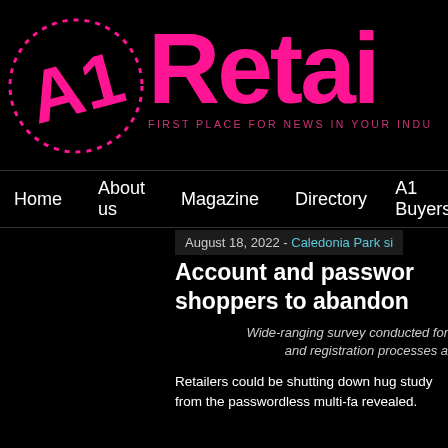[Figure (logo): A1 Retail magazine logo: pink dotted circle with A1 text inside, and 'Retai' large pink text to the right with tagline 'FIRST PLACE FOR NEWS IN YOUR INDU']
Home   About us   Magazine   Directory   A1 Buyers
August 18, 2022 - Caledonia Park si
Account and passwo shoppers to abandon
Wide-ranging survey conducted for and registration processes a
Retailers could be shutting down hug study from the passwordless multi-fa revealed.